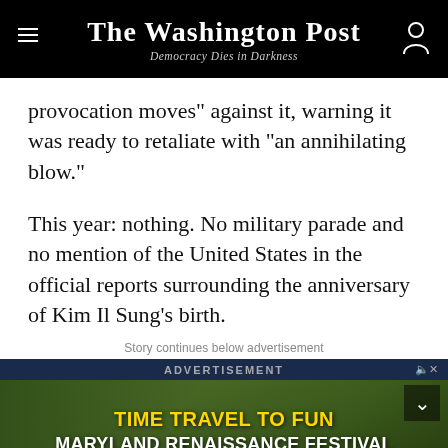The Washington Post — Democracy Dies in Darkness
provocation moves” against it, warning it was ready to retaliate with “an annihilating blow.”
This year: nothing. No military parade and no mention of the United States in the official reports surrounding the anniversary of Kim Il Sung’s birth.
Story continues below advertisement
[Figure (other): Advertisement banner for Maryland Renaissance Festival: TIME TRAVEL TO FUN / MARYLAND RENAISSANCE FESTIVAL OPENS SATURDAY! / ALL TICKETS SOLD ONLINE]